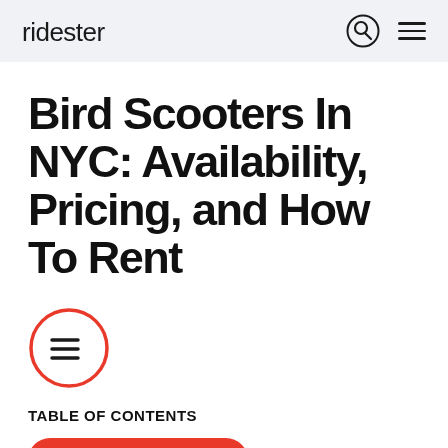ridester
Bird Scooters In NYC: Availability, Pricing, and How To Rent
[Figure (illustration): Orange circle icon with three horizontal lines (table of contents / menu icon)]
TABLE OF CONTENTS